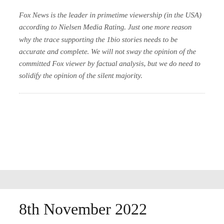Fox News is the leader in primetime viewership (in the USA) according to Nielsen Media Rating. Just one more reason why the trace supporting the 1bio stories needs to be accurate and complete. We will not sway the opinion of the committed Fox viewer by factual analysis, but we do need to solidify the opinion of the silent majority.
8th November 2022
APRIL 13, 2021